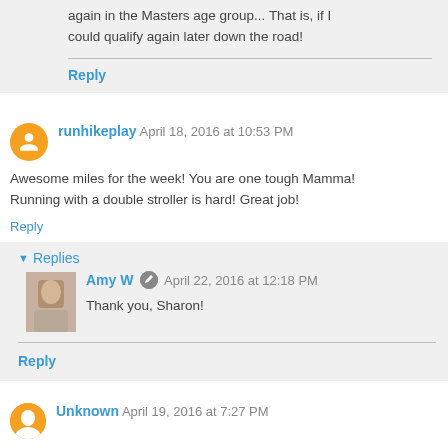again in the Masters age group... That is, if I could qualify again later down the road!
Reply
runhikeplay  April 18, 2016 at 10:53 PM
Awesome miles for the week! You are one tough Mamma! Running with a double stroller is hard! Great job!
Reply
▼ Replies
Amy W  April 22, 2016 at 12:18 PM
Thank you, Sharon!
Reply
Unknown  April 19, 2016 at 7:27 PM